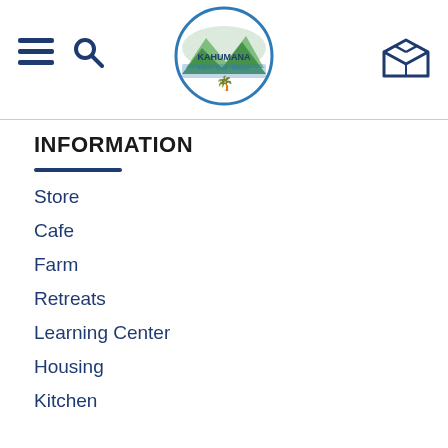Kahumana Farm Cafe Retreat — navigation header with hamburger menu, search icon, logo, and cart icon
INFORMATION
Store
Cafe
Farm
Retreats
Learning Center
Housing
Kitchen
Buy a gift certificate!
About
Donate